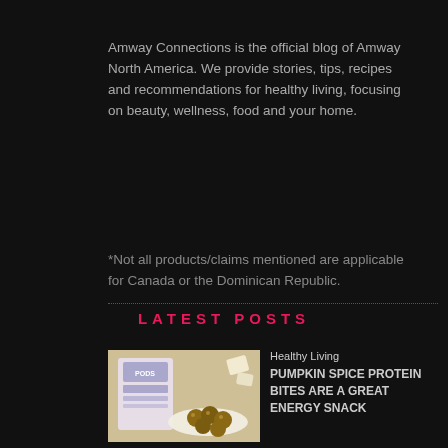Amway Connections is the official blog of Amway North America. We provide stories, tips, recipes and recommendations for healthy living, focusing on beauty, wellness, food and your home.
*Not all products/claims mentioned are applicable for Canada or the Dominican Republic.
LATEST POSTS
[Figure (photo): Photo of pumpkin spice protein bites on a white plate with protein powder packets in background]
Healthy Living
PUMPKIN SPICE PROTEIN BITES ARE A GREAT ENERGY SNACK